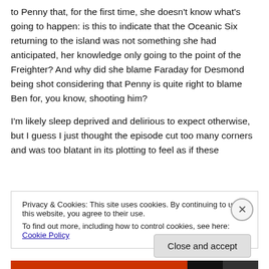to Penny that, for the first time, she doesn't know what's going to happen: is this to indicate that the Oceanic Six returning to the island was not something she had anticipated, her knowledge only going to the point of the Freighter? And why did she blame Faraday for Desmond being shot considering that Penny is quite right to blame Ben for, you know, shooting him?
I'm likely sleep deprived and delirious to expect otherwise, but I guess I just thought the episode cut too many corners and was too blatant in its plotting to feel as if these
Privacy & Cookies: This site uses cookies. By continuing to use this website, you agree to their use.
To find out more, including how to control cookies, see here: Cookie Policy